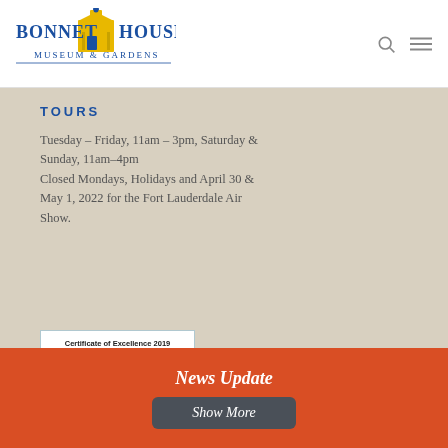[Figure (logo): Bonnet House Museum & Gardens logo with blue text and yellow building icon]
TOURS
Tuesday – Friday, 11am – 3pm, Saturday & Sunday, 11am–4pm
Closed Mondays, Holidays and April 30 & May 1, 2022 for the Fort Lauderdale Air Show.
[Figure (logo): TripAdvisor Certificate of Excellence 2019 badge with green owl icon and Read Reviews link]
News Update
Show More